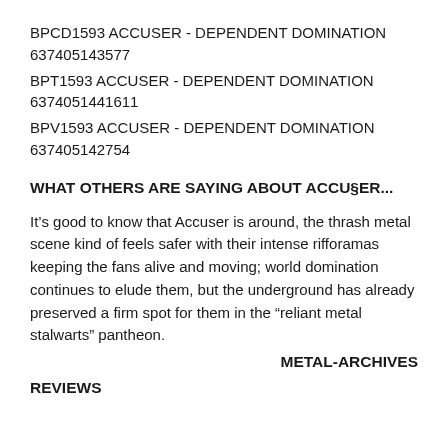BPCD1593 ACCUSER - DEPENDENT DOMINATION
637405143577
BPT1593 ACCUSER - DEPENDENT DOMINATION
6374051441611
BPV1593 ACCUSER - DEPENDENT DOMINATION
637405142754
WHAT OTHERS ARE SAYING ABOUT ACCU§ER...
It’s good to know that Accuser is around, the thrash metal scene kind of feels safer with their intense rifforamas keeping the fans alive and moving; world domination continues to elude them, but the underground has already preserved a firm spot for them in the “reliant metal stalwarts” pantheon.
METAL-ARCHIVES
REVIEWS